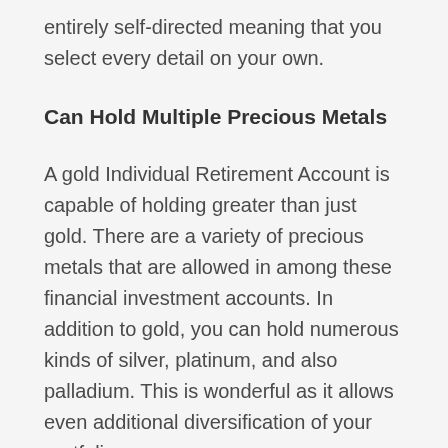entirely self-directed meaning that you select every detail on your own.
Can Hold Multiple Precious Metals
A gold Individual Retirement Account is capable of holding greater than just gold. There are a variety of precious metals that are allowed in among these financial investment accounts. In addition to gold, you can hold numerous kinds of silver, platinum, and also palladium. This is wonderful as it allows even additional diversification of your portfolio.
Paper Property Investments
On top of an real physical collection of